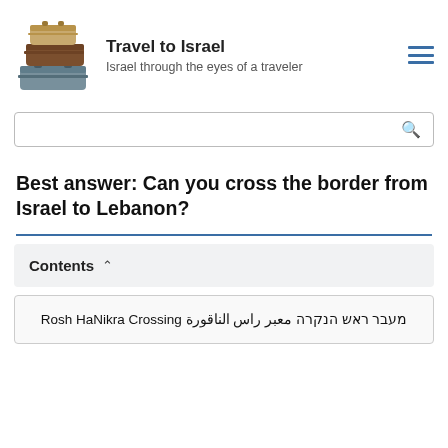Travel to Israel
Israel through the eyes of a traveler
Best answer: Can you cross the border from Israel to Lebanon?
Contents ∧
Rosh HaNikra Crossing מעבר ראש הנקרה معبر راس الناقورة